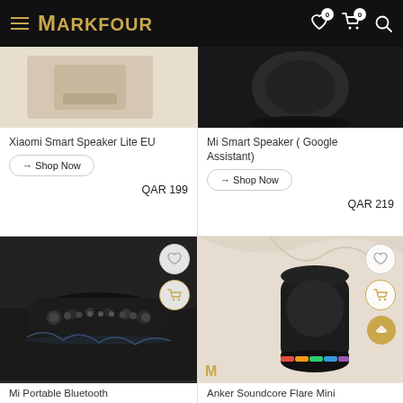MARKFOUR — navigation header with hamburger menu, logo, wishlist (0), cart (0), and search icons
Xiaomi Smart Speaker Lite EU
→ Shop Now
QAR 199
Mi Smart Speaker ( Google Assistant)
→ Shop Now
QAR 219
[Figure (photo): Mi Portable Bluetooth Speaker — black rugged cylindrical speaker on reflective surface with water splash]
Mi Portable Bluetooth
[Figure (photo): Anker Soundcore Flare Mini — black cylindrical speaker with RGB LED base against cream fabric background]
Anker Soundcore Flare Mini